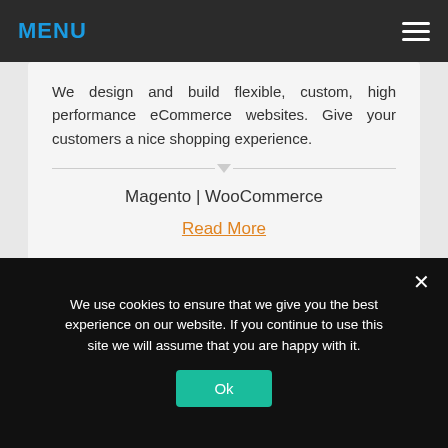MENU
We design and build flexible, custom, high performance eCommerce websites. Give your customers a nice shopping experience.
Magento | WooCommerce
Read More
[Figure (illustration): Cloud icon outline in orange color, partially visible at bottom of second card]
[Figure (other): Gray circular scroll-to-top button with upward arrow]
We use cookies to ensure that we give you the best experience on our website. If you continue to use this site we will assume that you are happy with it.
Ok